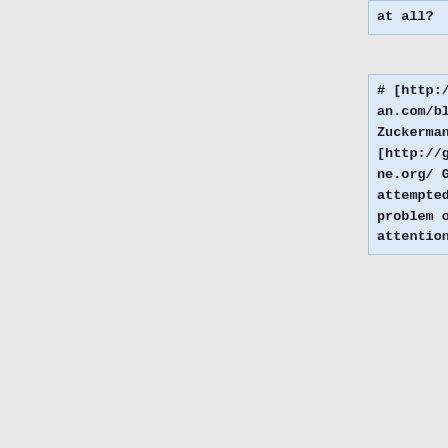at all?
# [http://www.ethanzuckerman.com/blog/ Ethan Zuckerman] explains that [http://globalvoicesonline.org/ Global Voices] has attempted to address the problem of selective global attention by providing an